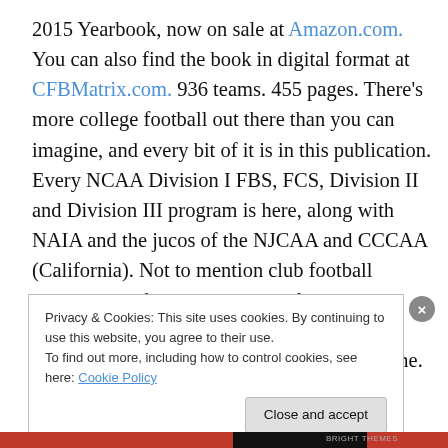2015 Yearbook, now on sale at Amazon.com. You can also find the book in digital format at CFBMatrix.com. 936 teams. 455 pages. There's more college football out there than you can imagine, and every bit of it is in this publication. Every NCAA Division I FBS, FCS, Division II and Division III program is here, along with NAIA and the jucos of the NJCAA and CCCAA (California). Not to mention club football programs, and one-year postgraduate prep academies. We even include a page of information on Mexico's college football scene.
Privacy & Cookies: This site uses cookies. By continuing to use this website, you agree to their use. To find out more, including how to control cookies, see here: Cookie Policy